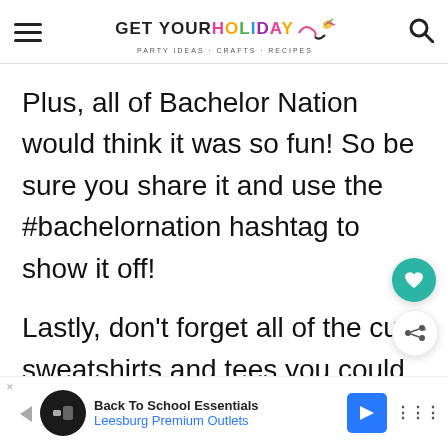GET YOUR HOLIDAY ON — PARTY IDEAS · CRAFTS · RECIPES
Plus, all of Bachelor Nation would think it was so fun! So be sure you share it and use the #bachelornation hashtag to show it off!
Lastly, don't forget all of the cute sweatshirts and tees you could get to...